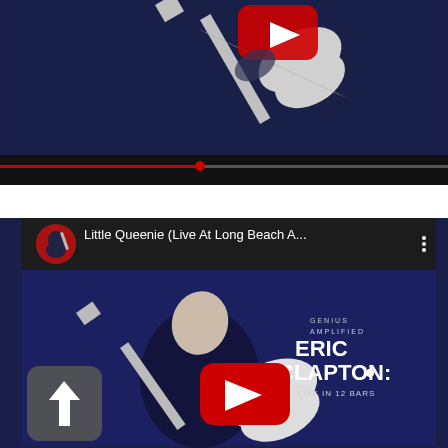[Figure (screenshot): YouTube video player showing top portion of Eric Clapton video - guitar image on dark blue background with YouTube play button and black progress bar below]
[Figure (screenshot): YouTube video player embed showing 'Little Queenie (Live At Long Beach A...' with Eric Clapton channel avatar, video title, three-dot menu, and thumbnail showing Eric Clapton album art 'Genius Amplified / Eric Clapton: Life In 12 Bars' on dark blue background with YouTube play button. Upload/share button visible on left side.]